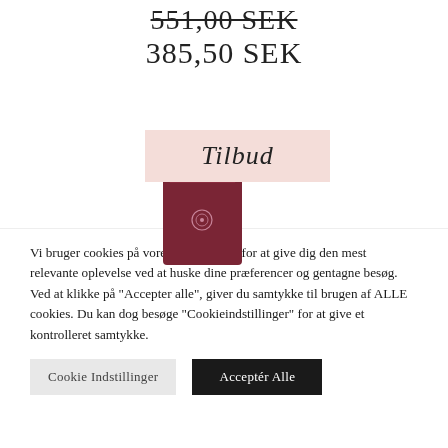551,00 SEK (strikethrough)
385,50 SEK
[Figure (photo): Product image of a dark burgundy/wine colored cosmetic tube or container with a small circular logo, partially behind a pink 'Tilbud' label badge]
Vi bruger cookies på vores hjemmeside for at give dig den mest relevante oplevelse ved at huske dine præferencer og gentagne besøg. Ved at klikke på "Accepter alle", giver du samtykke til brugen af ALLE cookies. Du kan dog besøge "Cookieindstillinger" for at give et kontrolleret samtykke.
Cookie Indstillinger
Acceptér Alle